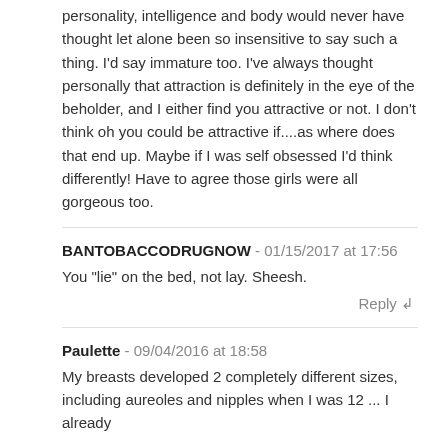personality, intelligence and body would never have thought let alone been so insensitive to say such a thing. I'd say immature too. I've always thought personally that attraction is definitely in the eye of the beholder, and I either find you attractive or not. I don't think oh you could be attractive if....as where does that end up. Maybe if I was self obsessed I'd think differently! Have to agree those girls were all gorgeous too.
BANTOBACCODRUGNOW - 01/15/2017 at 17:56
You "lie" on the bed, not lay. Sheesh.
Reply
Paulette - 09/04/2016 at 18:58
My breasts developed 2 completely different sizes, including aureoles and nipples when I was 12 ... I already